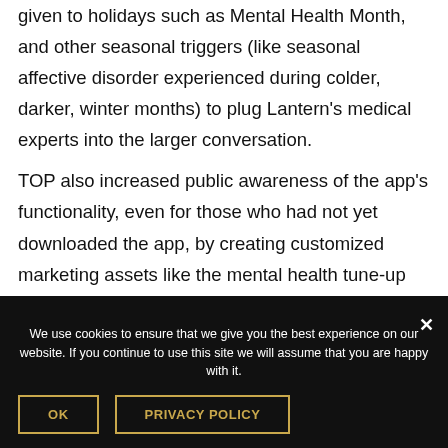given to holidays such as Mental Health Month, and other seasonal triggers (like seasonal affective disorder experienced during colder, darker, winter months) to plug Lantern's medical experts into the larger conversation.
TOP also increased public awareness of the app's functionality, even for those who had not yet downloaded the app, by creating customized marketing assets like the mental health tune-up quiz which on-air talent could administer on local TV and radio.
We use cookies to ensure that we give you the best experience on our website. If you continue to use this site we will assume that you are happy with it.